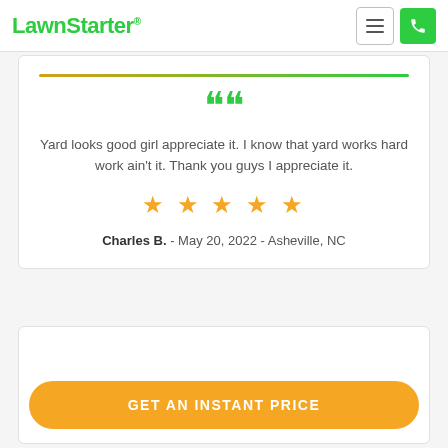LawnStarter
Yard looks good girl appreciate it. I know that yard works hard work ain't it. Thank you guys I appreciate it.
★★★★★
Charles B. - May 20, 2022 - Asheville, NC
GET AN INSTANT PRICE